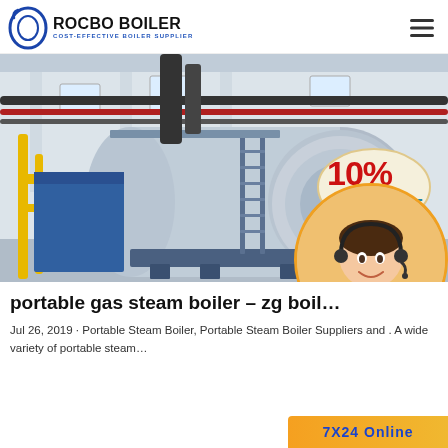ROCBO BOILER — COST-EFFECTIVE BOILER SUPPLIER
[Figure (photo): Industrial gas steam boiler in a factory facility. Large cylindrical horizontal boiler with blue base, yellow pipes on left, red pipes overhead, blue access ladder. Overlaid with a '10% DISCOUNT' promotional badge in red and teal, and a customer service agent photo in the lower right corner with a '7X24 Online' badge.]
portable gas steam boiler – zg boil…
Jul 26, 2019 · Portable Steam Boiler, Portable Steam Boiler Suppliers and . A wide variety of portable steam…